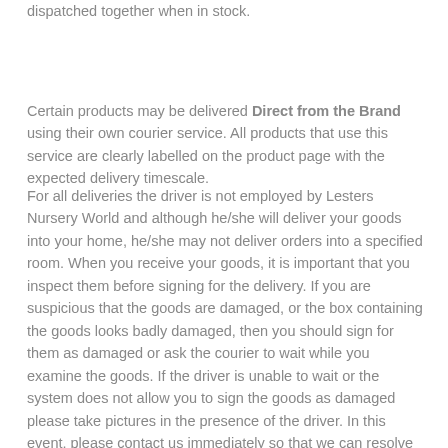dispatched together when in stock.
Certain products may be delivered Direct from the Brand using their own courier service. All products that use this service are clearly labelled on the product page with the expected delivery timescale.
For all deliveries the driver is not employed by Lesters Nursery World and although he/she will deliver your goods into your home, he/she may not deliver orders into a specified room. When you receive your goods, it is important that you inspect them before signing for the delivery. If you are suspicious that the goods are damaged, or the box containing the goods looks badly damaged, then you should sign for them as damaged or ask the courier to wait while you examine the goods. If the driver is unable to wait or the system does not allow you to sign the goods as damaged please take pictures in the presence of the driver. In this event, please contact us immediately so that we can resolve the situation with the courier. It is important that all original packaging is kept until you are satisfied with the goods and are sure that they will not need to be returned. Couriers will